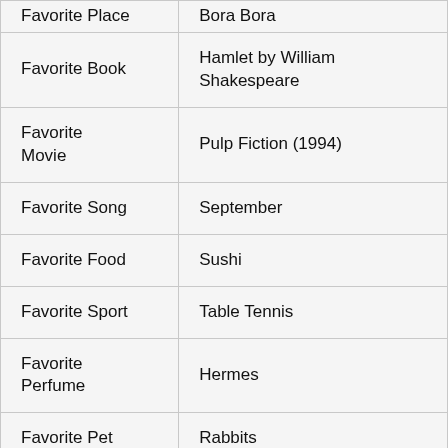| Favorite Place | Bora Bora |
| Favorite Book | Hamlet by William Shakespeare |
| Favorite Movie | Pulp Fiction (1994) |
| Favorite Song | September |
| Favorite Food | Sushi |
| Favorite Sport | Table Tennis |
| Favorite Perfume | Hermes |
| Favorite Pet | Rabbits |